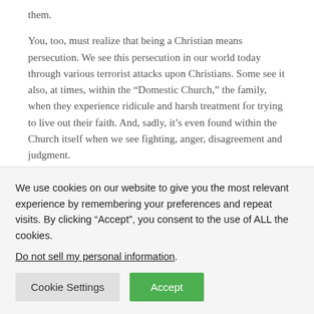them.
You, too, must realize that being a Christian means persecution. We see this persecution in our world today through various terrorist attacks upon Christians. Some see it also, at times, within the “Domestic Church,” the family, when they experience ridicule and harsh treatment for trying to live out their faith. And, sadly, it’s even found within the Church itself when we see fighting, anger, disagreement and judgment.
The key is the Holy Spirit. The Holy Spirit plays a significant role right now in our world. That role is to strengthen us in our
We use cookies on our website to give you the most relevant experience by remembering your preferences and repeat visits. By clicking “Accept”, you consent to the use of ALL the cookies.
Do not sell my personal information.
Cookie Settings
Accept